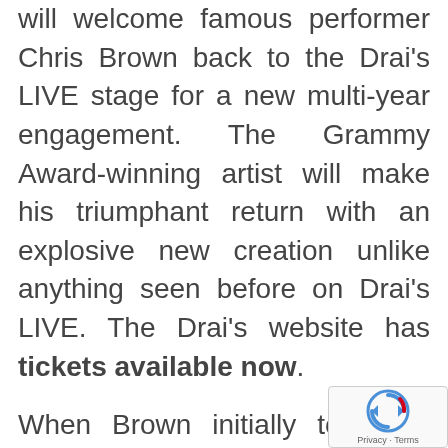will welcome famous performer Chris Brown back to the Drai's LIVE stage for a new multi-year engagement. The Grammy Award-winning artist will make his triumphant return with an explosive new creation unlike anything seen before on Drai's LIVE. The Drai's website has tickets available now.
When Brown initially took the Drai's LIVE stage in 2015, he was one of the club's inaugural tenants, and he'll be the first with a custom-designed set and production. The transparent two-level stage, designed to bring Brown's vision to life, will bring him closer to his fans with an immersive, up close and personal
[Figure (other): reCAPTCHA widget overlay in bottom-right corner with spinning arrows icon and Privacy Terms text]